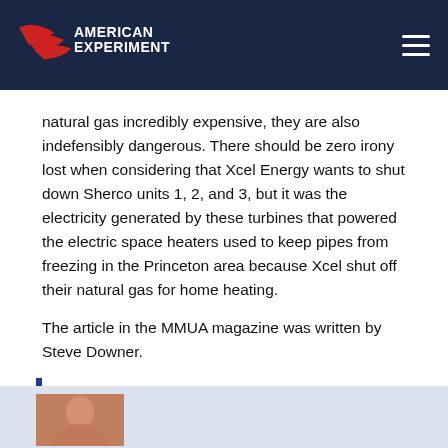American Experiment
natural gas incredibly expensive, they are also indefensibly dangerous. There should be zero irony lost when considering that Xcel Energy wants to shut down Sherco units 1, 2, and 3, but it was the electricity generated by these turbines that powered the electric space heaters used to keep pipes from freezing in the Princeton area because Xcel shut off their natural gas for home heating.
The article in the MMUA magazine was written by Steve Downer.
[Figure (other): Blue vertical divider bar]
[Figure (photo): Author headshot thumbnail at bottom of page]